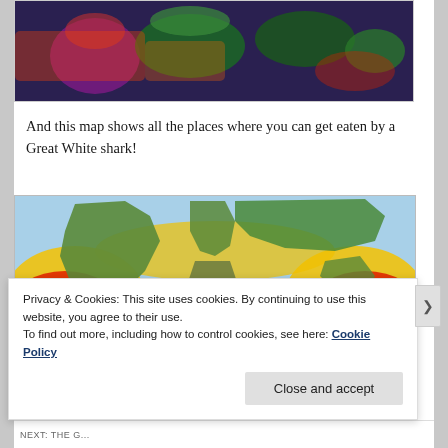[Figure (map): Partial view of a world heatmap with purple, red, and green coloring showing some geographic distribution data — top portion of the image is visible.]
And this map shows all the places where you can get eaten by a Great White shark!
[Figure (map): World map showing Great White shark habitat zones. Oceans are colored in red (high risk), yellow (medium risk), and light blue/white (low risk). Continents are shown in green/brown.]
Privacy & Cookies: This site uses cookies. By continuing to use this website, you agree to their use.
To find out more, including how to control cookies, see here: Cookie Policy